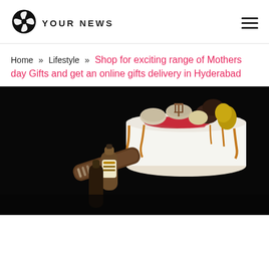YOUR NEWS
Home » Lifestyle » Shop for exciting range of Mothers day Gifts and get an online gifts delivery in Hyderabad
[Figure (photo): A decorated cake with chocolate drip, topped with truffles, macarons, and gold chocolate pieces, with bottles and a cigar roll visible beside it on a dark background]